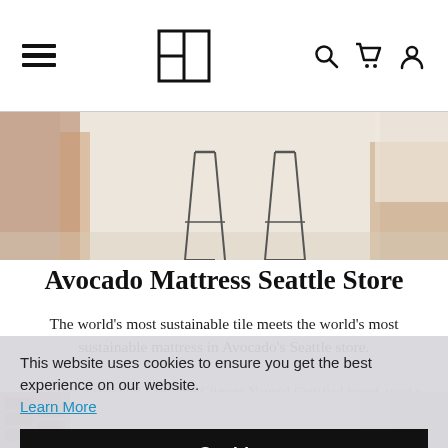Navigation bar with hamburger menu, logo, search, cart, and account icons
[Figure (photo): Interior photo of a minimalist room with metal bar stools on a light floor, wood furniture in background]
Avocado Mattress Seattle Store
The world's most sustainable tile meets the world's most sustainable mattress in Avocado's Seattle store.
Avocado, a fellow B Corp and Climate Neutral Certified brand, used a winning combination of 2x8 Ceramic tile in Tusk and 1x4 Ceramic tile in a custom colorway (for a similar look, try our Eucalyptus glaze) to create an environment as soothing as their organic mattresses.
This website uses cookies to ensure you get the best experience on our website.
Learn More
Got it!
[Figure (photo): Bottom portion of an interior photo showing white bedding and brick floor]